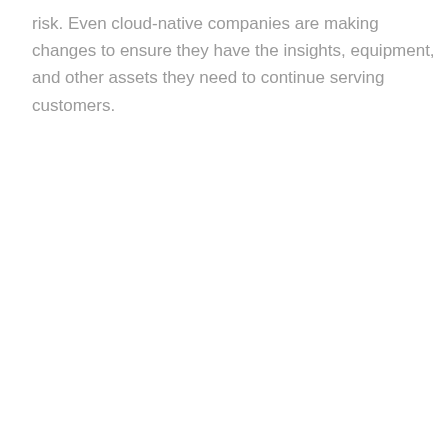risk. Even cloud-native companies are making changes to ensure they have the insights, equipment, and other assets they need to continue serving customers.